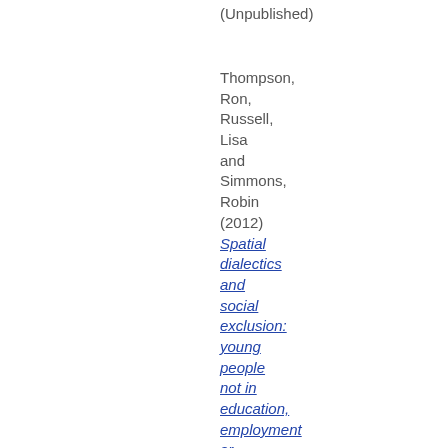(Unpublished)
Thompson, Ron, Russell, Lisa and Simmons, Robin (2012) Spatial dialectics and social exclusion: young people not in education, employment or training.